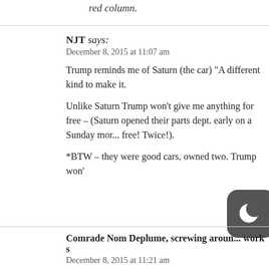red column.
NJT says:
December 8, 2015 at 11:07 am
Trump reminds me of Saturn (the car) “A different kind to make it.
Unlike Saturn Trump won’t give me anything for free – (Saturn opened their parts dept. early on a Sunday mor... free! Twice!).
*BTW – they were good cars, owned two. Trump won’
Comrade Nom Deplume, screwing aroun... work s
December 8, 2015 at 11:21 am